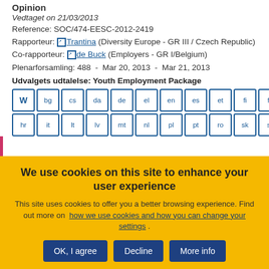Opinion
Vedtaget on 21/03/2013
Reference: SOC/474-EESC-2012-2419
Rapporteur: Trantina (Diversity Europe - GR III / Czech Republic)
Co-rapporteur: de Buck (Employers - GR I/Belgium)
Plenarforsamling: 488 - Mar 20, 2013 - Mar 21, 2013
Udvalgets udtalelse: Youth Employment Package
Language buttons: W bg cs da de el en es et fi fr hr it lt lv mt nl pl pt ro sk sl
We use cookies on this site to enhance your user experience
This site uses cookies to offer you a better browsing experience. Find out more on how we use cookies and how you can change your settings.